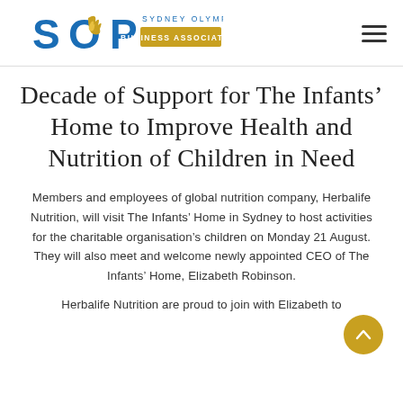[Figure (logo): Sydney Olympic Park Business Association logo with SOP letters in blue and gold flame, gold rectangle with 'BUSINESS ASSOCIATION' text, and 'SYDNEY OLYMPIC PARK' text above]
Decade of Support for The Infants’ Home to Improve Health and Nutrition of Children in Need
Members and employees of global nutrition company, Herbalife Nutrition, will visit The Infants’ Home in Sydney to host activities for the charitable organisation’s children on Monday 21 August. They will also meet and welcome newly appointed CEO of The Infants’ Home, Elizabeth Robinson.
Herbalife Nutrition are proud to join with Elizabeth to